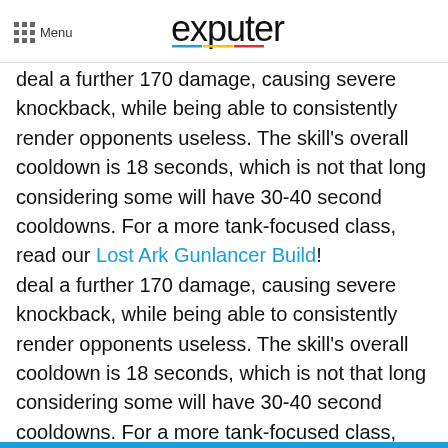Menu | exputer
deal a further 170 damage, causing severe knockback, while being able to consistently render opponents useless. The skill's overall cooldown is 18 seconds, which is not that long considering some will have 30-40 second cooldowns. For a more tank-focused class, read our Lost Ark Gunlancer Build!
Quick Prep
As for the recommended tripods, we highly suggest that players who want to use the Lost Ark Bard Support Build to its full potential should